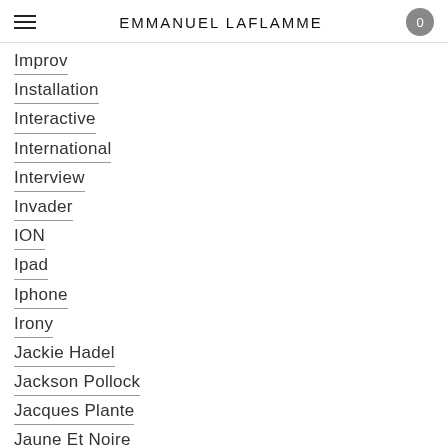EMMANUEL LAFLAMME
Improv
Installation
Interactive
International
Interview
Invader
ION
Ipad
Iphone
Irony
Jackie Hadel
Jackson Pollock
Jacques Plante
Jaune Et Noire
Jours